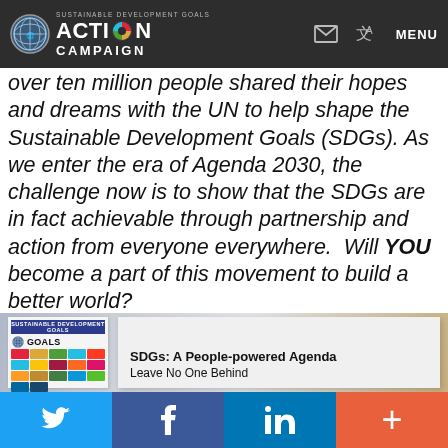SUSTAINABLE DEVELOPMENT GOALS ACTION CAMPAIGN — MENU
over ten million people shared their hopes and dreams with the UN to help shape the Sustainable Development Goals (SDGs). As we enter the era of Agenda 2030, the challenge now is to show that the SDGs are in fact achievable through partnership and action from everyone everywhere.  Will YOU become a part of this movement to build a better world?
[Figure (photo): Photo of a display booth showing a sign reading 'SDGs: A People-powered Agenda Leave No One Behind' next to a panel showing the UN Sustainable Development Goals icons]
Twitter | Facebook | LinkedIn | +